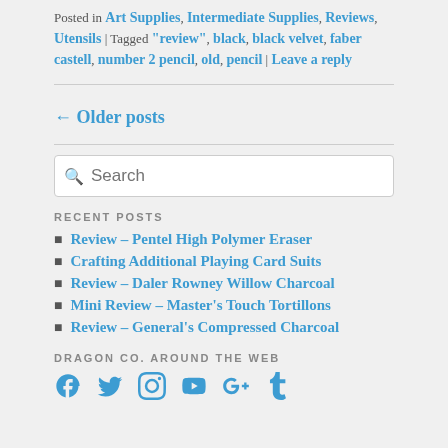Posted in Art Supplies, Intermediate Supplies, Reviews, Utensils | Tagged "review", black, black velvet, faber castell, number 2 pencil, old, pencil | Leave a reply
← Older posts
Search
RECENT POSTS
Review – Pentel High Polymer Eraser
Crafting Additional Playing Card Suits
Review – Daler Rowney Willow Charcoal
Mini Review – Master's Touch Tortillons
Review – General's Compressed Charcoal
DRAGON CO. AROUND THE WEB